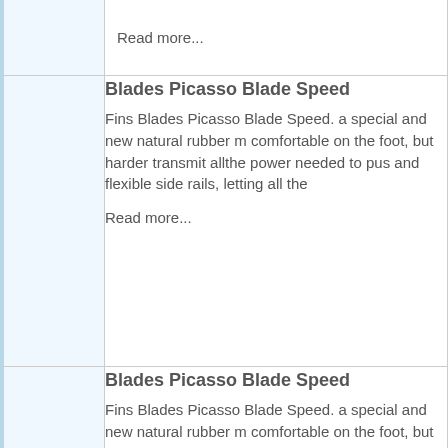Read more...
Blades Picasso Blade Speed
Fins Blades Picasso Blade Speed. a special and new natural rubber m comfortable on the foot, but harder transmit allthe power needed to pus and flexible side rails, letting all the
Read more...
Blades Picasso Blade Speed
Fins Blades Picasso Blade Speed. a special and new natural rubber m comfortable on the foot, but harder transmit allthe power needed to pus and flexible side rails, letting all the
Read more...